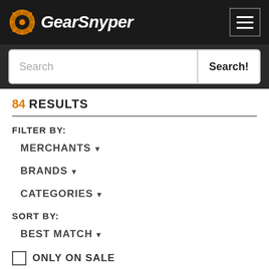GearSnyper
84 RESULTS
FILTER BY:
MERCHANTS ▾
BRANDS ▾
CATEGORIES ▾
SORT BY:
BEST MATCH ▾
ONLY ON SALE